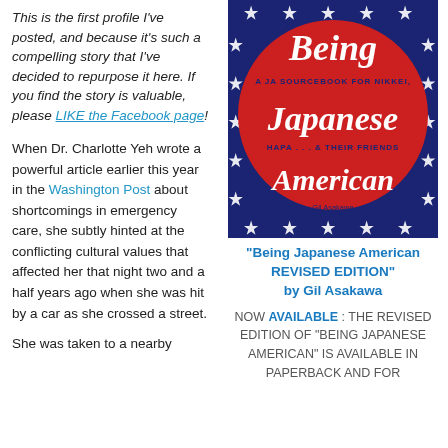This is the first profile I've posted, and because it's such a compelling story that I've decided to repurpose it here. If you find the story is valuable, please LIKE the Facebook page!
When Dr. Charlotte Yeh wrote a powerful article earlier this year in the Washington Post about shortcomings in emergency care, she subtly hinted at the conflicting cultural values that affected her that night two and a half years ago when she was hit by a car as she crossed a street.
She was taken to a nearby
[Figure (illustration): Book cover of 'Being Japanese American - A JA Sourcebook for Nikkei, Hapa ... & Their Friends' by Gil Asakawa. Navy blue background with white stars, large red circle in center with white italic text.]
"Being Japanese American REVISED EDITION" by Gil Asakawa
NOW AVAILABLE : THE REVISED EDITION OF "BEING JAPANESE AMERICAN" IS AVAILABLE IN PAPERBACK AND FOR